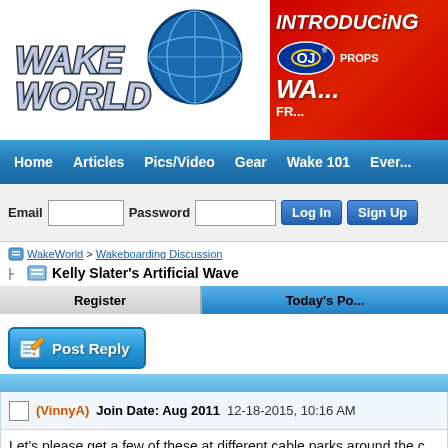[Figure (logo): WakeWorld logo with globe graphic and stylized text]
[Figure (screenshot): Advertisement banner: INTRODUCING with OJ Props logo - red background, partially cropped]
Home  Articles  Pics/Video  Gear  Wake 101  Ever...
Email  Password  Log In  Sign Up
WakeWorld > Wakeboarding Discussion
Kelly Slater's Artificial Wave
Register    Today's Po...
[Figure (screenshot): Post Reply button with pencil/paper icon]
(VinnyA)  Join Date: Aug 2011  12-18-2015, 10:16 AM
Let's please get a few of these at different cable parks around the c...
[Figure (photo): Outdoor photo showing trees and landscape near a water park or similar facility]